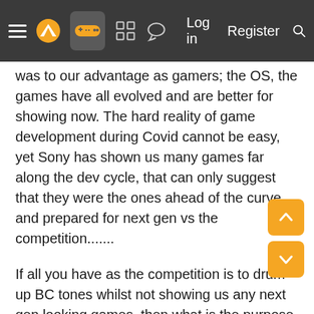Navigation bar with hamburger menu, logo, gamepad icon (active), grid icon, chat icon, Log in, Register, Search
was to our advantage as gamers; the OS, the games have all evolved and are better for showing now. The hard reality of game development during Covid cannot be easy, yet Sony has shown us many games far along the dev cycle, that can only suggest that they were the ones ahead of the curve and prepared for next gen vs the competition.......
If all you have as the competition is to drum up BC tones whilst not showing us any next gen looking games, then what is the purpose of next gen......One company was not ready for the next generation as the other. Sony’s silence has nothing to do with not being prepared, they have a great launch with great games ahead, looking really polished too, so much for all their silence on RT and 4k native or 60fps as well, because they are delivering a bevy of those features at launch.......
Sony’s silence is because they are leaders of the industry, they dance to their own beat....Sony does not have to react to anything the competition does or says; buying publishers